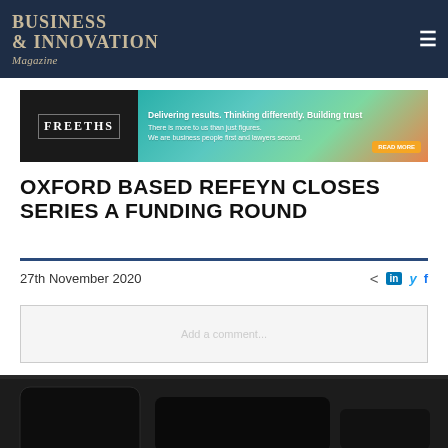BUSINESS & INNOVATION Magazine
[Figure (infographic): Freeths law firm advertisement banner: 'Delivering results. Thinking differently. Building trust. There is more to us than just figures. We are business people first and lawyers second.']
OXFORD BASED REFEYN CLOSES SERIES A FUNDING ROUND
27th November 2020
[Figure (photo): Close-up photograph of dark scientific instruments/devices on a dark background, appearing to be laboratory equipment.]